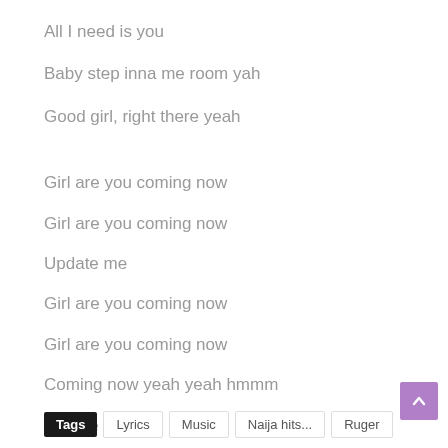All I need is you
Baby step inna me room yah
Good girl, right there yeah
Girl are you coming now
Girl are you coming now
Update me
Girl are you coming now
Girl are you coming now
Coming now yeah yeah hmmm
Update me
Tags  Lyrics  Music  Naija hits...  Ruger